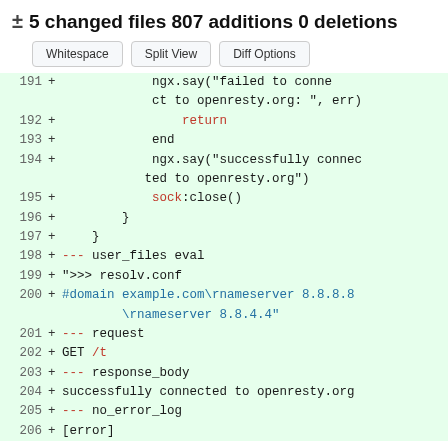± 5 changed files 807 additions 0 deletions
[Figure (screenshot): GitHub diff view buttons: Whitespace, Split View, Diff Options]
191 + ngx.say("failed to connect to openresty.org: ", err)
192 + return
193 + end
194 + ngx.say("successfully connected to openresty.org")
195 + sock:close()
196 + }
197 + }
198 + --- user_files eval
199 + ">>> resolv.conf
200 + #domain example.com\rnameserver 8.8.8.8\rnameserver 8.8.4.4"
201 + --- request
202 + GET /t
203 + --- response_body
204 + successfully connected to openresty.org
205 + --- no_error_log
206 + [error]